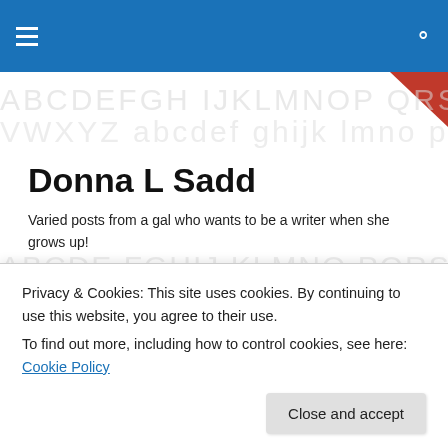Donna L Sadd — site navigation header
Donna L Sadd
Varied posts from a gal who wants to be a writer when she grows up!
Super Crispy Super Bowl Chicken Wings
Hi Gang
Privacy & Cookies: This site uses cookies. By continuing to use this website, you agree to their use.
To find out more, including how to control cookies, see here: Cookie Policy
Close and accept